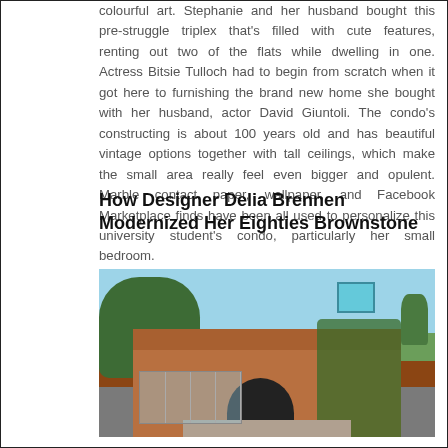colourful art. Stephanie and her husband bought this pre-struggle triplex that's filled with cute features, renting out two of the flats while dwelling in one. Actress Bitsie Tulloch had to begin from scratch when it got here to furnishing the brand new home she bought with her husband, actor David Giuntoli. The condo's constructing is about 100 years old and has beautiful vintage options together with tall ceilings, which make the small area really feel even bigger and opulent. Marble contact paper, wallpaper, and Facebook Marketplace finds have been all used to personalize this university student's condo, particularly her small bedroom.
How Designer Delia Brennen Modernized Her Eighties Brownstone
[Figure (photo): Exterior photo of a modernized brownstone building with brick walls covered in ivy, large glass entrance, glass skylight panel on roof, and trees surrounding the structure under a blue sky.]